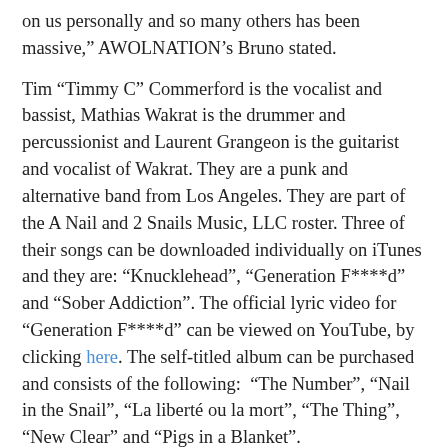on us personally and so many others has been massive," AWOLNATION's Bruno stated.
Tim "Timmy C" Commerford is the vocalist and bassist, Mathias Wakrat is the drummer and percussionist and Laurent Grangeon is the guitarist and vocalist of Wakrat. They are a punk and alternative band from Los Angeles. They are part of the A Nail and 2 Snails Music, LLC roster. Three of their songs can be downloaded individually on iTunes and they are: "Knucklehead", "Generation F****d" and "Sober Addiction". The official lyric video for "Generation F****d" can be viewed on YouTube, by clicking here. The self-titled album can be purchased and consists of the following: "The Number", "Nail in the Snail", "La liberté ou la mort", "The Thing", "New Clear" and "Pigs in a Blanket".